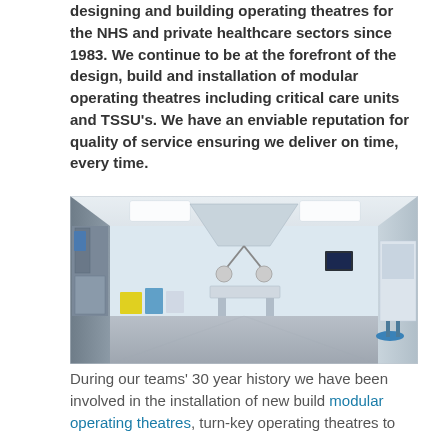designing and building operating theatres for the NHS and private healthcare sectors since 1983. We continue to be at the forefront of the design, build and installation of modular operating theatres including critical care units and TSSU's. We have an enviable reputation for quality of service ensuring we deliver on time, every time.
[Figure (photo): Interior photograph of a modern hospital operating theatre showing a large, bright room with overhead lighting panels, surgical lamp equipment, operating table, medical equipment carts, monitors, and grey flooring.]
During our teams' 30 year history we have been involved in the installation of new build modular operating theatres, turn-key operating theatres to